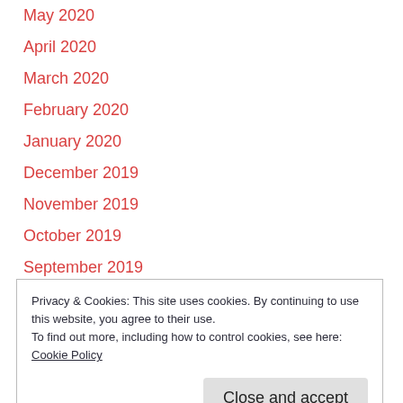May 2020
April 2020
March 2020
February 2020
January 2020
December 2019
November 2019
October 2019
September 2019
August 2019
July 2019
Privacy & Cookies: This site uses cookies. By continuing to use this website, you agree to their use.
To find out more, including how to control cookies, see here: Cookie Policy
January 2019